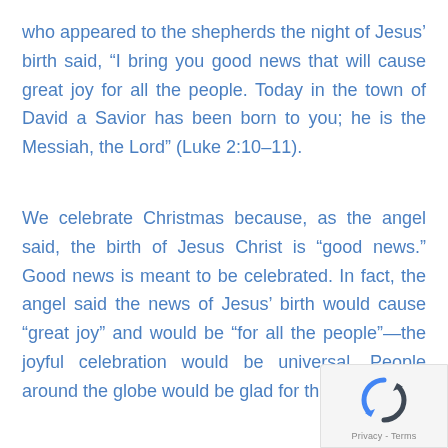who appeared to the shepherds the night of Jesus' birth said, “I bring you good news that will cause great joy for all the people. Today in the town of David a Savior has been born to you; he is the Messiah, the Lord” (Luke 2:10–11).
We celebrate Christmas because, as the angel said, the birth of Jesus Christ is “good news.” Good news is meant to be celebrated. In fact, the angel said the news of Jesus’ birth would cause “great joy” and would be “for all the people”—the joyful celebration would be universal. People around the globe would be glad for this occasion.
[Figure (logo): reCAPTCHA badge with spinning arrows logo and Privacy - Terms text]